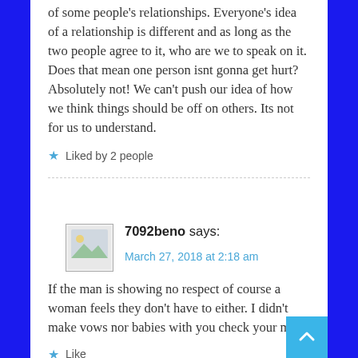of some people's relationships. Everyone's idea of a relationship is different and as long as the two people agree to it, who are we to speak on it. Does that mean one person isnt gonna get hurt? Absolutely not! We can't push our idea of how we think things should be off on others. Its not for us to understand.
★ Liked by 2 people
7092beno says:
March 27, 2018 at 2:18 am
If the man is showing no respect of course a woman feels they don't have to either. I didn't make vows nor babies with you check your man.
★ Like